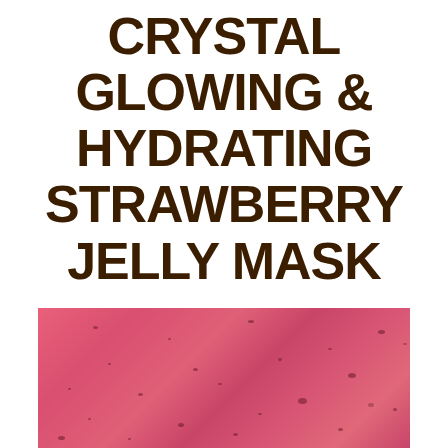CRYSTAL GLOWING & HYDRATING STRAWBERRY JELLY MASK
[Figure (photo): Close-up photo of a pink/red strawberry jelly mask texture with dark speckles]